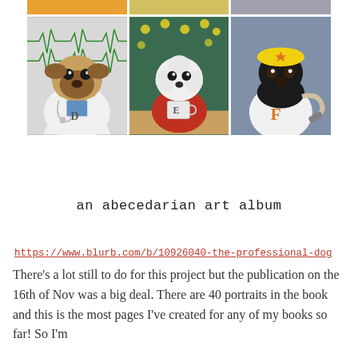[Figure (illustration): Grid of dog portrait paintings. Top partial row shows three paintings cropped at top. Second full row shows three paintings: D=Pug in doctor coat with stethoscope and EKG background, E=White fluffy dog in red sweater holding mug with letter E at a table with yellow lightbulbs in background, F=Black Labrador in firefighter helmet and jersey with letter F holding a fire hose.]
an abecedarian art album
https://www.blurb.com/b/10926040-the-professional-dog
There's a lot still to do for this project but the publication on the 16th of Nov was a big deal. There are 40 portraits in the book and this is the most pages I've created for any of my books so far! So I'm celebrating! What a...